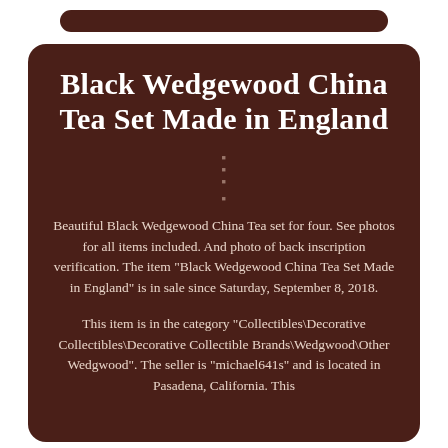Black Wedgewood China Tea Set Made in England
Beautiful Black Wedgewood China Tea set for four. See photos for all items included. And photo of back inscription verification. The item "Black Wedgewood China Tea Set Made in England" is in sale since Saturday, September 8, 2018.
This item is in the category "Collectibles\Decorative Collectibles\Decorative Collectible Brands\Wedgwood\Other Wedgwood". The seller is "michael641s" and is located in Pasadena, California. This